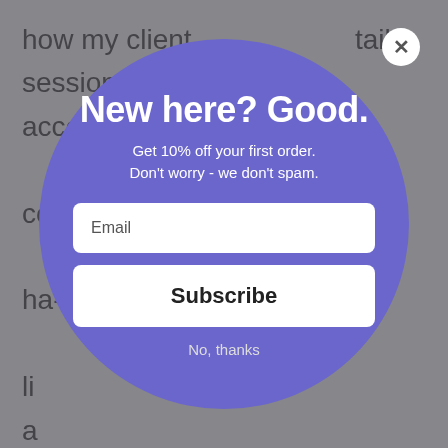how my client                    tailor sessions according                          e comi                                           is. I ha                              li                                                   k a c R from energy access to                                    perform a workout that is a combination of Strength and HIIT
[Figure (screenshot): Email subscription modal popup overlay on a website. A large purple circle contains: heading 'New here? Good.', subtitle 'Get 10% off your first order. Don't worry - we don't spam.', an Email input field, a Subscribe button, and a 'No, thanks' link. A white close button (X) is in the top right corner.]